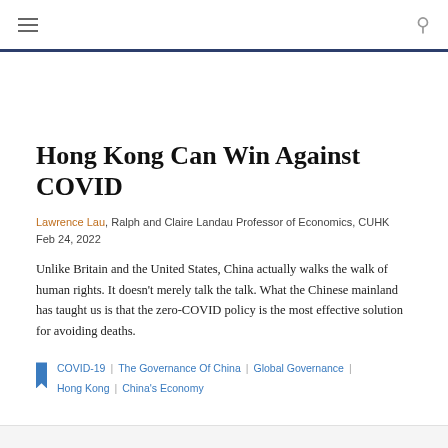Navigation header with menu and search icons
Hong Kong Can Win Against COVID
Lawrence Lau, Ralph and Claire Landau Professor of Economics, CUHK
Feb 24, 2022
Unlike Britain and the United States, China actually walks the walk of human rights. It doesn't merely talk the talk. What the Chinese mainland has taught us is that the zero-COVID policy is the most effective solution for avoiding deaths.
COVID-19 | The Governance Of China | Global Governance | Hong Kong | China's Economy